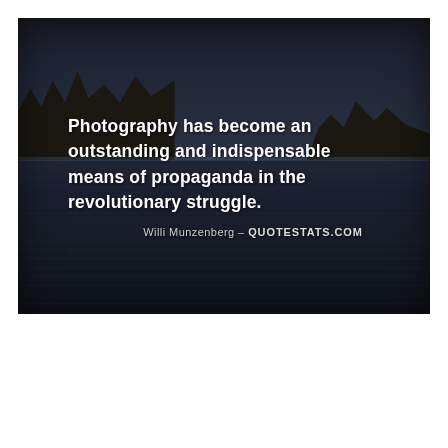[Figure (photo): Night or dusk landscape photograph showing a dark sky with tree silhouettes on the left and distant right, and a calm reflective water body (lake or marsh) in the lower half. The image has a dark, moody atmosphere with blue-grey tones throughout.]
Photography has become an outstanding and indispensable means of propaganda in the revolutionary struggle.
Willi Munzenberg - QUOTESTATS.COM